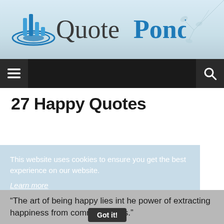[Figure (logo): QuotePond logo with blue circular ripple/wave icon with bar chart above, and text 'QuotePond' in grey and blue]
27 Happy Quotes
This website uses cookies to ensure you get the best experience on our website.
Learn more
“The art of being happy lies int he power of extracting happiness from common things.”